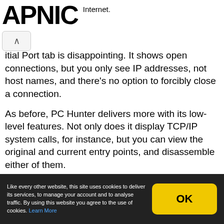APNIC   Internet.
itial Port tab is disappointing. It shows open connections, but you only see IP addresses, not host names, and there's no option to forcibly close a connection.
As before, PC Hunter delivers more with its low-level features. Not only does it display TCP/IP system calls, for instance, but you can view the original and current entry points, and disassemble either of them.
The Registry tab contains a REGEDIT-type view of your Registry. You could use this to browse and edit the Registry, if REGEDIT isn't working, and there's also an option to find hidden Registry objects.
Like every other website, this site uses cookies to deliver its services, to manage your account and to analyse traffic. By using this website you agree to the use of cookies. Learn More